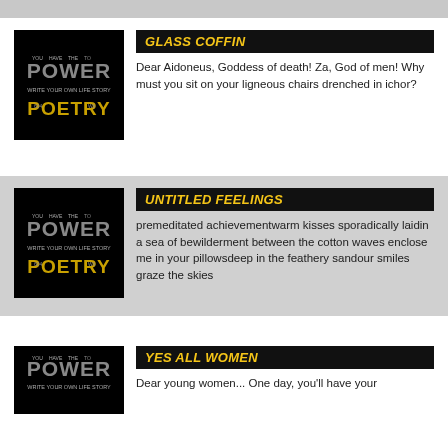[Figure (illustration): Power of Poetry book cover thumbnail - black background with white/gray text forming 'POWER' and 'POETRY']
GLASS COFFIN
Dear Aidoneus, Goddess of death! Za, God of men! Why must you sit on your ligneous chairs drenched in ichor?
[Figure (illustration): Power of Poetry book cover thumbnail - black background with white/gray text forming 'POWER' and 'POETRY']
UNTITLED FEELINGS
premeditated achievementwarm kisses sporadically laidin a sea of bewilderment between the cotton waves enclose me in your pillowsdeep in the feathery sandour smiles graze the skies
[Figure (illustration): Power of Poetry book cover thumbnail - black background with white/gray text forming 'POWER' and 'POETRY']
YES ALL WOMEN
Dear young women... One day, you'll have your